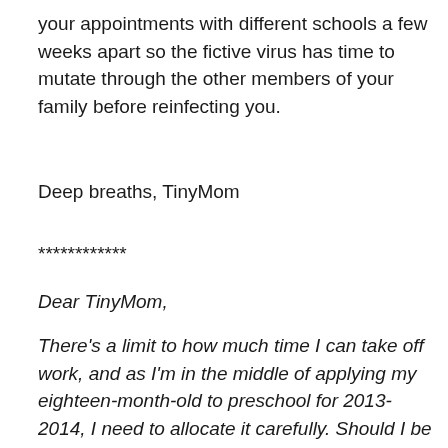your appointments with different schools a few weeks apart so the fictive virus has time to mutate through the other members of your family before reinfecting you.
Deep breaths, TinyMom
************
Dear TinyMom,
There's a limit to how much time I can take off work, and as I'm in the middle of applying my eighteen-month-old to preschool for 2013-2014, I need to allocate it carefully. Should I be rushing out of the parent interviews so that I can clock out again for the play interview, or should I relax and let my daughter go to her interviews with the nanny? My daughter behaves better with the nanny, but I'm concerned about appearing uninvolved. Which interview is